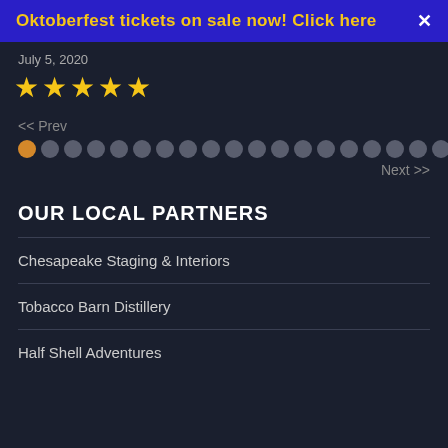Oktoberfest tickets on sale now! Click here  ×
July 5, 2020
[Figure (other): Five yellow star rating icons]
<< Prev
[Figure (other): Pagination dots row: one orange dot followed by many grey dots]
Next >>
OUR LOCAL PARTNERS
Chesapeake Staging & Interiors
Tobacco Barn Distillery
Half Shell Adventures